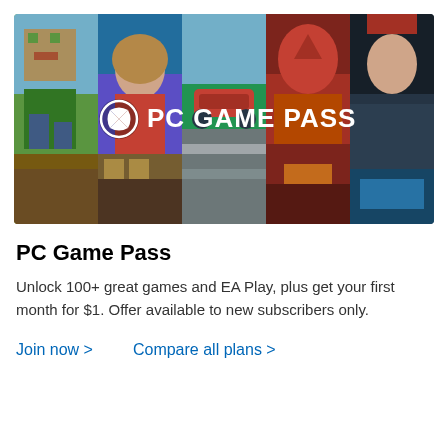[Figure (illustration): PC Game Pass promotional banner showing five game panels side by side: Minecraft character, anime-style girl, racing car, dragon with fire, and pirate character. Xbox logo and 'PC GAME PASS' text overlaid in white in the center.]
PC Game Pass
Unlock 100+ great games and EA Play, plus get your first month for $1. Offer available to new subscribers only.
Join now >   Compare all plans >